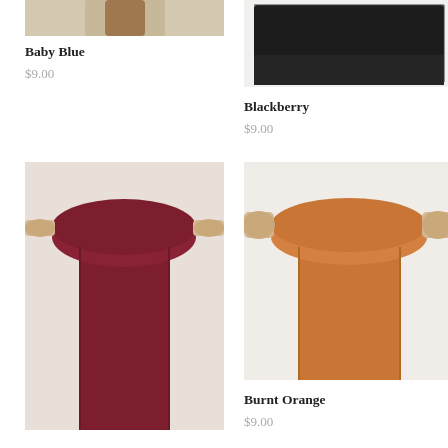[Figure (photo): Top portion of a fabric roll on a wooden rolling pin, Baby Blue color, mostly cropped]
Baby Blue
$9.00
[Figure (photo): Dark black/blackberry colored fabric swatch on white background]
Blackberry
$9.00
[Figure (photo): Burgundy/deep red fabric roll on wooden rolling pin with fabric unrolled down]
[Figure (photo): Burnt orange fabric roll on wooden rolling pin with fabric unrolled down]
Burnt Orange
$9.00